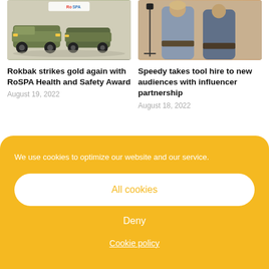[Figure (photo): Two military-style armored trucks with ROSPA logo, on a grey background]
[Figure (photo): Two people standing outdoors, one wearing a grey t-shirt and tool belt, the other partially visible]
Rokbak strikes gold again with RoSPA Health and Safety Award
August 19, 2022
Speedy takes tool hire to new audiences with influencer partnership
August 18, 2022
We use cookies to optimize our website and our service.
All cookies
Deny
Cookie policy